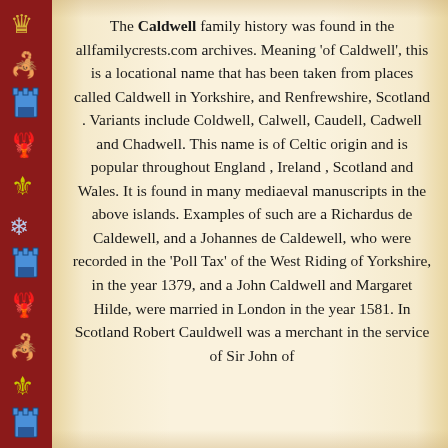The Caldwell family history was found in the allfamilycrests.com archives. Meaning 'of Caldwell', this is a locational name that has been taken from places called Caldwell in Yorkshire, and Renfrewshire, Scotland . Variants include Coldwell, Calwell, Caudell, Cadwell and Chadwell. This name is of Celtic origin and is popular throughout England , Ireland , Scotland and Wales. It is found in many mediaeval manuscripts in the above islands. Examples of such are a Richardus de Caldewell, and a Johannes de Caldewell, who were recorded in the 'Poll Tax' of the West Riding of Yorkshire, in the year 1379, and a John Caldwell and Margaret Hilde, were married in London in the year 1581. In Scotland Robert Cauldwell was a merchant in the service of Sir John of